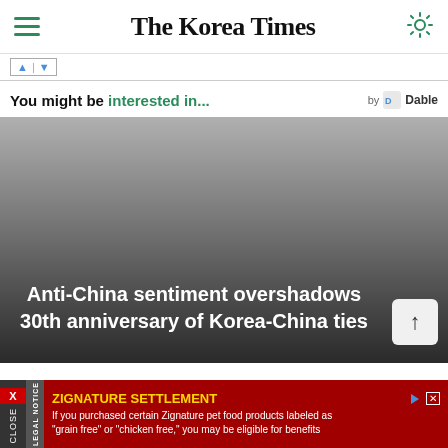The Korea Times
[Figure (screenshot): Ad banner with up and down arrows]
You might be interested in...
by Dable
[Figure (photo): Dark gradient background image with article headline: Anti-China sentiment overshadows 30th anniversary of Korea-China ties]
Anti-China sentiment overshadows 30th anniversary of Korea-China ties
[Figure (screenshot): Bottom advertisement: ZIGNATURE SETTLEMENT - If you purchased certain Zignature pet food products labeled as grain free or chicken free, you may be eligible for benefits]